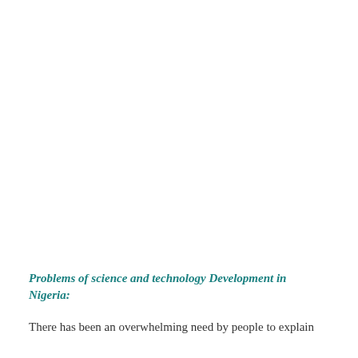Problems of science and technology Development in Nigeria:
There has been an overwhelming need by people to explain